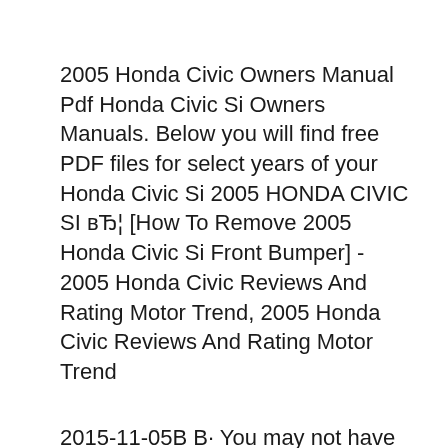2005 Honda Civic Owners Manual Pdf Honda Civic Si Owners Manuals. Below you will find free PDF files for select years of your Honda Civic Si 2005 HONDA CIVIC SI вЂ¦ [How To Remove 2005 Honda Civic Si Front Bumper] - 2005 Honda Civic Reviews And Rating Motor Trend, 2005 Honda Civic Reviews And Rating Motor Trend
2015-11-05В В· You may not have your 2016 Honda Civic yet, 2016+ Honda Civic Forum (10th Gen) - Type R Forum, Si Forum Featured 2016 Honda Civic Owners Manual PDF If you are unsure about which Honda engine powers your